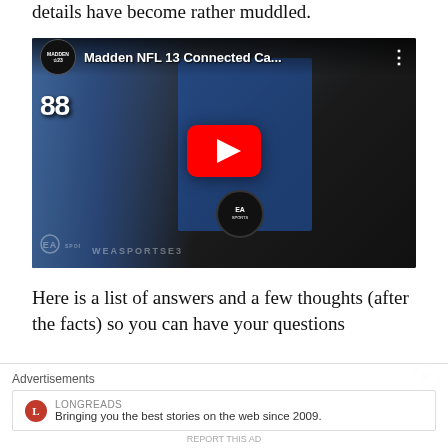details have become rather muddled.
[Figure (screenshot): YouTube video thumbnail showing a Madden NFL 13 Connected Ca... video. A man in dark clothing is visible on the right, and an EA Sports microphone and football player in blue jersey #88 are on the left. A large YouTube red play button is in the center. The channel badge shows MADDEN 23 logo. EA SPORTS and EASPORTSE3 watermarks are visible at the bottom.]
Here is a list of answers and a few thoughts (after the facts) so you can have your questions
Advertisements
LONGREADS
Bringing you the best stories on the web since 2009.